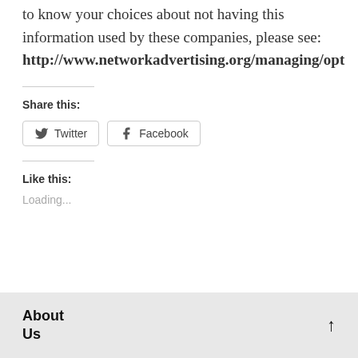to know your choices about not having this information used by these companies, please see: http://www.networkadvertising.org/managing/opt
Share this:
[Figure (other): Twitter and Facebook share buttons]
Like this:
Loading...
About Us